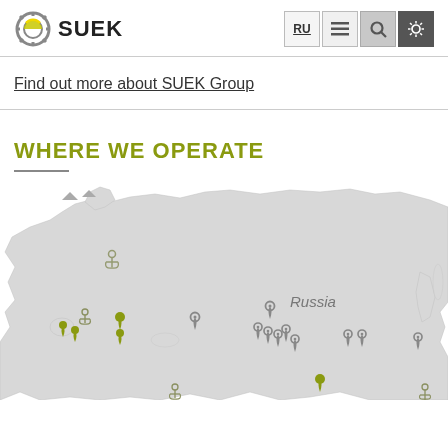SUEK
Find out more about SUEK Group
WHERE WE OPERATE
[Figure (map): Map of Russia and surrounding regions with location pins (yellow and grey) and anchor icons marking SUEK Group operational sites. The label 'Russia' appears in the center of the map.]